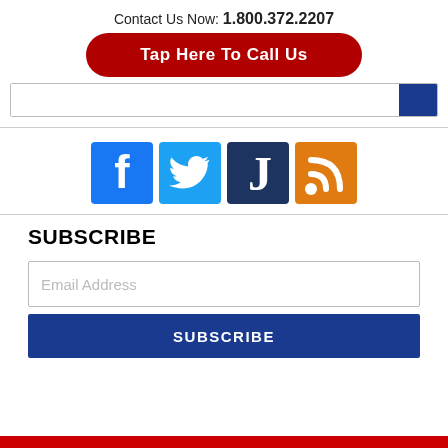Contact Us Now: 1.800.372.2207
Tap Here To Call Us
[Figure (infographic): Row of four social media icons: Facebook (blue), Twitter (light blue), Justia (dark blue with J), RSS feed (orange)]
SUBSCRIBE
Email Address
SUBSCRIBE